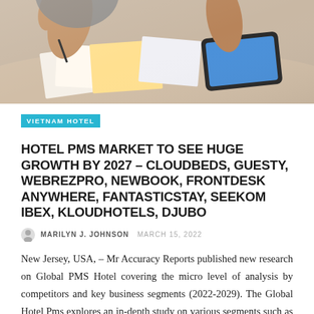[Figure (photo): Photo of two people working at a desk with papers and a tablet, hands visible, warm overhead lighting]
VIETNAM HOTEL
HOTEL PMS MARKET TO SEE HUGE GROWTH BY 2027 – CLOUDBEDS, GUESTY, WEBREZPRO, NEWBOOK, FRONTDESK ANYWHERE, FANTASTICSTAY, SEEKOM IBEX, KLOUDHOTELS, DJUBO
MARILYN J. JOHNSON   MARCH 15, 2022
New Jersey, USA, – Mr Accuracy Reports published new research on Global PMS Hotel covering the micro level of analysis by competitors and key business segments (2022-2029). The Global Hotel Pms explores an in-depth study on various segments such as opportunities, size, development, innovation, sales and global growth of key players. The